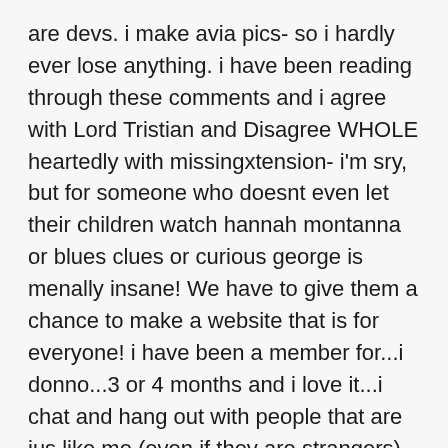are devs. i make avia pics- so i hardly ever lose anything. i have been reading through these comments and i agree with Lord Tristian and Disagree WHOLE heartedly with missingxtension- i'm sry, but for someone who doesnt even let their children watch hannah montanna or blues clues or curious george is menally insane! We have to give them a chance to make a website that is for everyone! i have been a member for...i donno...3 or 4 months and i love it...i chat and hang out with people that are jus like me (even if they are strangers)- and yehh, they might not be able to walk or talk jus yet- but there are VERY talented devs out there who make dance moves and CAN make them walk- you jus have to look for the products! i think that putting money into this site will help them achieve their goal in making a better site! && who cares if they mess-up! they are the brains behind this ingenious site!! visit my site and see what i